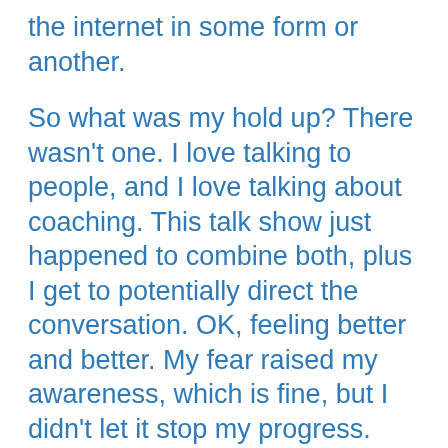the internet in some form or another.
So what was my hold up?  There wasn't one.  I love talking to people, and I love talking about coaching.  This talk show just happened to combine both, plus I get to potentially direct the conversation.  OK, feeling better and better.  My fear raised my awareness, which is fine, but I didn't let it stop my progress.
I can do this.
I sent in my bio and a list of 4 questions ranging from how I got into coaching to how my niche found me.  I then put it out of my mind until the day of the show.  Why worry about something that hasn't happened yet and of which I really had no control.  After all,